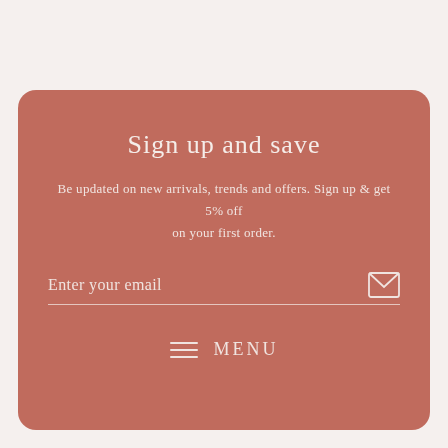Sign up and save
Be updated on new arrivals, trends and offers. Sign up & get 5% off on your first order.
Enter your email
MENU